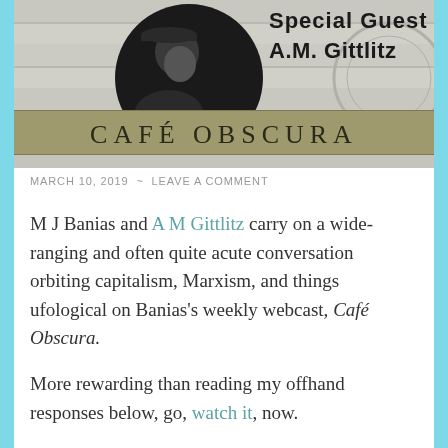[Figure (illustration): Café Obscura podcast banner image showing a black and white circular portrait photo of a person wearing a cap, with text 'Special Guest A.M. Gittlitz' in the upper right, and a golden/olive colored banner with 'CAFÉ OBSCURA' in stylized lettering across the bottom portion.]
MARCH 10, 2019  ~  LEAVE A COMMENT
M J Banias and A M Gittlitz carry on a wide-ranging and often quite acute conversation orbiting capitalism, Marxism, and things ufological on Banias's weekly webcast, Café Obscura.
More rewarding than reading my offhand responses below, go, watch it, now.